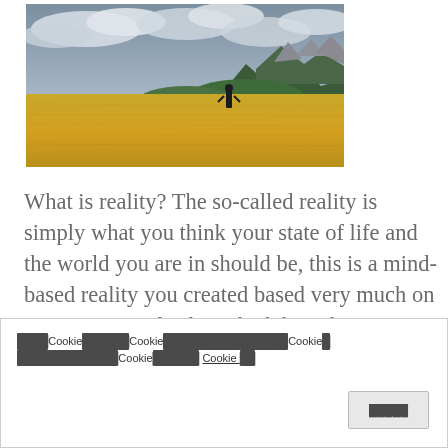[Figure (photo): A person standing in a large golden wheat field facing mountains under a dramatic cloudy sky]
What is reality? The so-called reality is simply what you think your state of life and the world you are in should be, this is a mind-based reality you created based very much on your notions of value which have been instilled into your mind since you were
Cookie banner with blocked/redacted text referencing Cookie policy settings